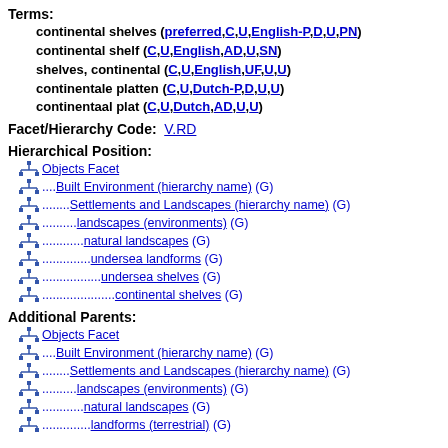Terms:
continental shelves (preferred,C,U,English-P,D,U,PN)
continental shelf (C,U,English,AD,U,SN)
shelves, continental (C,U,English,UF,U,U)
continentale platten (C,U,Dutch-P,D,U,U)
continentaal plat (C,U,Dutch,AD,U,U)
Facet/Hierarchy Code:
V.RD
Hierarchical Position:
Objects Facet
.... Built Environment (hierarchy name) (G)
........ Settlements and Landscapes (hierarchy name) (G)
.......... landscapes (environments) (G)
............ natural landscapes (G)
.............. undersea landforms (G)
................ undersea shelves (G)
.................... continental shelves (G)
Additional Parents:
Objects Facet
.... Built Environment (hierarchy name) (G)
........ Settlements and Landscapes (hierarchy name) (G)
.......... landscapes (environments) (G)
............ natural landscapes (G)
.............. landforms (terrestrial) (G)